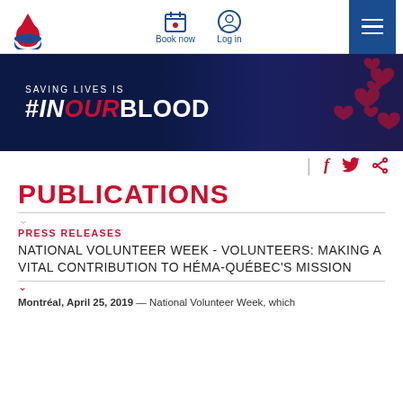[Figure (logo): Héma-Québec blood drop logo in red and blue]
Book now
Log in
[Figure (illustration): Dark navy banner with text 'SAVING LIVES IS #INOURBLOOD' and red heart pattern on the right]
| f twitter share
PUBLICATIONS
PRESS RELEASES
NATIONAL VOLUNTEER WEEK - VOLUNTEERS: MAKING A VITAL CONTRIBUTION TO HÉMA-QUÉBEC'S MISSION
Montréal, April 25, 2019 — National Volunteer Week, which